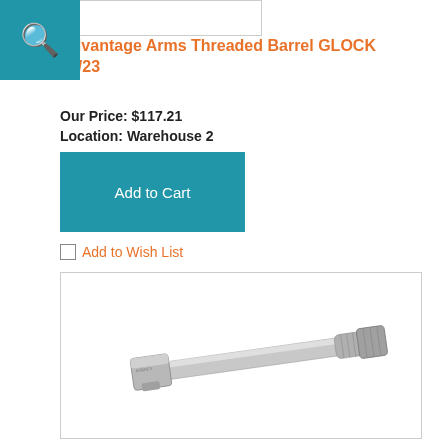[Figure (photo): Partial view of product image box at top (cropped/cut off)]
Advantage Arms Threaded Barrel GLOCK 19/23
Our Price: $117.21
Location: Warehouse 2
Add to Cart
Add to Wish List
[Figure (photo): Silver threaded pistol barrel (Agency Arms ML Barrel FOR G19 G5 THRD STS)]
Agency Arms ML Barrel FOR G19 G5 THRD STS
Our Price: $220.00
Location: Warehouse 2